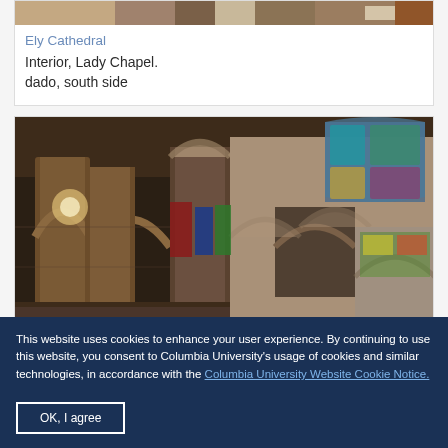[Figure (photo): Top portion of a cathedral interior photo card, partially cropped at top]
Ely Cathedral
Interior, Lady Chapel. dado, south side
[Figure (photo): Interior of Ely Cathedral showing gothic arches, stone columns, stained glass windows, and hanging banners]
This website uses cookies to enhance your user experience. By continuing to use this website, you consent to Columbia University's usage of cookies and similar technologies, in accordance with the Columbia University Website Cookie Notice.
OK, I agree